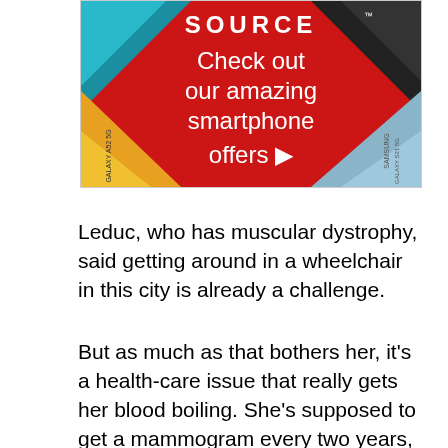[Figure (illustration): The Source retailer advertisement on a red diamond background showing 'Check out our amazing smartphone offers' with smartphones visible in corners]
Leduc, who has muscular dystrophy, said getting around in a wheelchair in this city is already a challenge.
But as much as that bothers her, it's a health-care issue that really gets her blood boiling. She's supposed to get a mammogram every two years, but often, when she goes to the